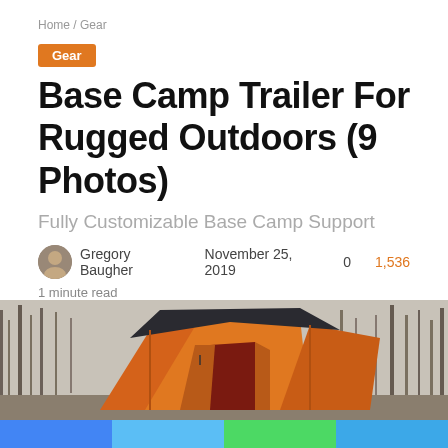Home / Gear
Gear
Base Camp Trailer For Rugged Outdoors (9 Photos)
Fully Customizable Base Camp Support
Gregory Baugher   November 25, 2019   0   1,536
1 minute read
[Figure (photo): Orange base camp tent/trailer set up outdoors in a winter forest with bare trees in the background. The tent is large, orange with a dark roof cover.]